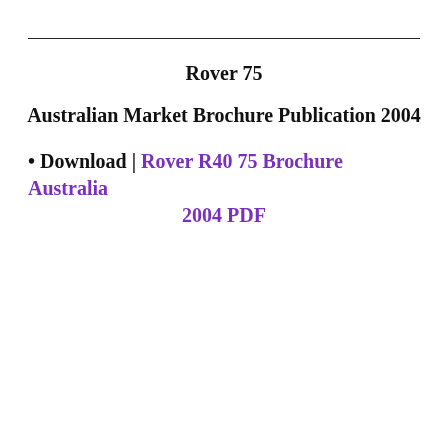Rover 75
Australian Market Brochure Publication 2004
Download | Rover R40 75 Brochure Australia 2004 PDF